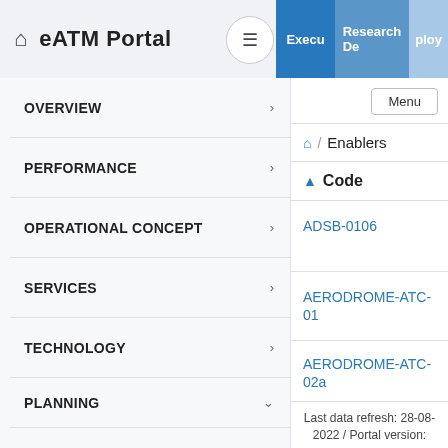eATM Portal
OVERVIEW
PERFORMANCE
OPERATIONAL CONCEPT
SERVICES
TECHNOLOGY
PLANNING
SESAR Solutions SOL
Integrated Roadmap
Operational Improvement Steps OI
Menu
Enablers
Code
ADSB-0106
AERODROME-ATC-01
AERODROME-ATC-02a
Last data refresh: 28-08-2022 / Portal version: 1.0.85.4.4170 (LDB)